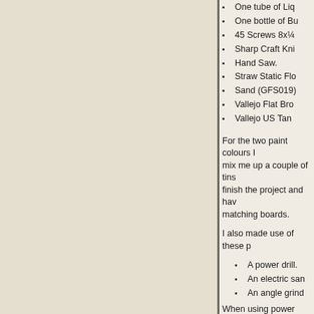One tube of Liquid Nails
One bottle of Bu...
45 Screws 8x1/4
Sharp Craft Knife
Hand Saw.
Straw Static Flo...
Sand (GFS019)
Vallejo Flat Brow...
Vallejo US Tan ...
For the two paint colours I... mix me up a couple of tins... finish the project and have... matching boards.
I also made use of these p...
A power drill.
An electric sand...
An angle grinde...
When using power tools a... properly and when you cu... you never see them in any... and sanding. There's not ...
If you don't have access to... knife and a handsaw.